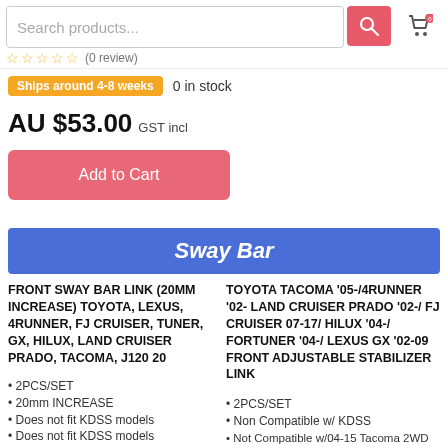Search products... (search bar with cart icon)
☆☆☆☆☆ (0 review)
Ships around 4-8 weeks   0 in stock
AU $53.00 GST incl
Add to Cart
Sway Bar
FRONT SWAY BAR LINK (20MM INCREASE) TOYOTA, LEXUS, 4RUNNER, FJ CRUISER, TUNER, GX, HILUX, LAND CRUISER PRADO, TACOMA, J120 20
2PCS/SET
20mm INCREASE
Does not fit KDSS models
Does not fit KDSS models
TOYOTA TACOMA '05-/4RUNNER '02- LAND CRUISER PRADO '02-/ FJ CRUISER 07-17/ HILUX '04-/ FORTUNER '04-/ LEXUS GX '02-09 FRONT ADJUSTABLE STABILIZER LINK
2PCS/SET
Non Compatible w/ KDSS
Not Compatible w/04-15 Tacoma 2WD (Except PRERUNNER)